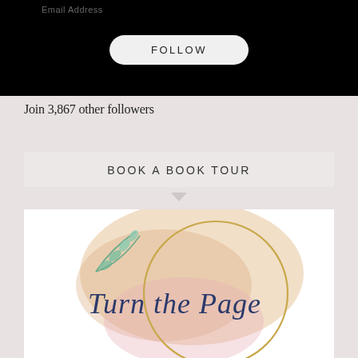[Figure (screenshot): Black background section with 'Email Address' label and a white rounded FOLLOW button]
Join 3,867 other followers
BOOK A BOOK TOUR
[Figure (logo): Turn the Page book tour logo with circular gold ring, watercolor peach and pink background, teal eucalyptus leaves, and cursive navy script reading 'Turn the Page']